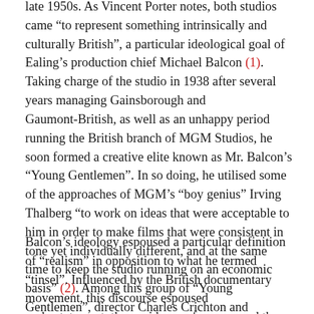late 1950s. As Vincent Porter notes, both studios came “to represent something intrinsically and culturally British”, a particular ideological goal of Ealing’s production chief Michael Balcon (1). Taking charge of the studio in 1938 after several years managing Gainsborough and Gaumont-British, as well as an unhappy period running the British branch of MGM Studios, he soon formed a creative elite known as Mr. Balcon’s “Young Gentlemen”. In so doing, he utilised some of the approaches of MGM’s “boy genius” Irving Thalberg “to work on ideas that were acceptable to him in order to make films that were consistent in tone yet individually different, and at the same time to keep the studio running on an economic basis” (2). Among this group of “Young Gentlemen”, director Charles Crichton and screenwriter T.E.B. (“Tibby”) Clarke were more in tune with Balcon’s conservative vision than the more complex work of Robert Hamer and Alexander Mackendrick.
Balcon’s ideology espoused a particular definition of “realism” in opposition to what he termed “tinsel”. Influenced by the British documentary movement, this discourse espoused understatement, the avoidance of excess, and the role of humour as a means of alleviating the material deprivations of